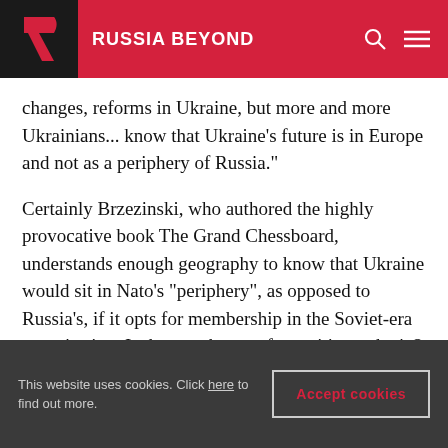RUSSIA BEYOND
changes, reforms in Ukraine, but more and more Ukrainians... know that Ukraine's future is in Europe and not as a periphery of Russia."
Certainly Brzezinski, who authored the highly provocative book The Grand Chessboard, understands enough geography to know that Ukraine would sit in Nato's "periphery", as opposed to Russia's, if it opts for membership in the Soviet-era organisation. Is that any better of a position to be in?
This website uses cookies. Click here to find out more. Accept cookies